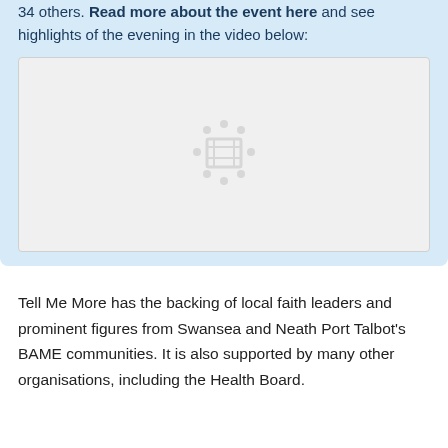34 others. Read more about the event here and see highlights of the evening in the video below:
[Figure (screenshot): Video placeholder with film reel loading icon on light grey background]
Tell Me More has the backing of local faith leaders and prominent figures from Swansea and Neath Port Talbot's BAME communities. It is also supported by many other organisations, including the Health Board.